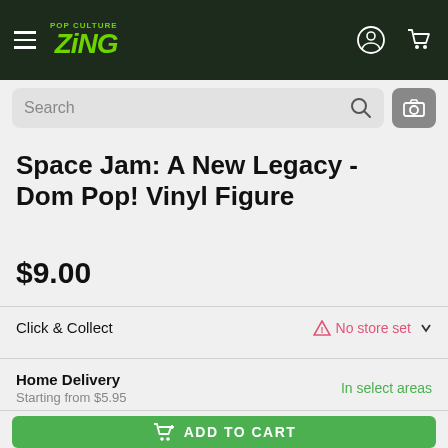Zing Pop Culture
Space Jam: A New Legacy - Dom Pop! Vinyl Figure
$9.00
Click & Collect
No store set
Home Delivery
Starting from $5.95
In select areas
ADD TO CART
SAVE TO WISHLIST
Free Returns
Pay by instalments with